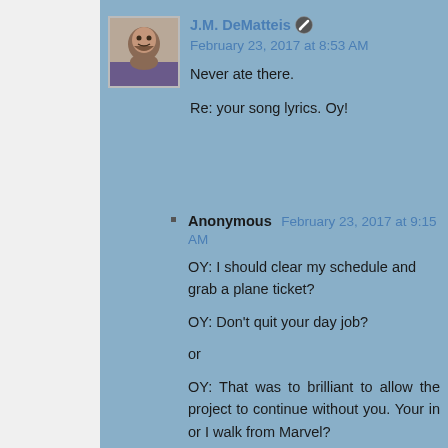[Figure (photo): Avatar photo of J.M. DeMatteis - man with beard]
J.M. DeMatteis ✏ February 23, 2017 at 8:53 AM
Never ate there.

Re: your song lyrics. Oy!
Anonymous February 23, 2017 at 9:15 AM
OY: I should clear my schedule and grab a plane ticket?

OY: Don't quit your day job?

or

OY: That was to brilliant to allow the project to continue without you. Your in or I walk from Marvel?